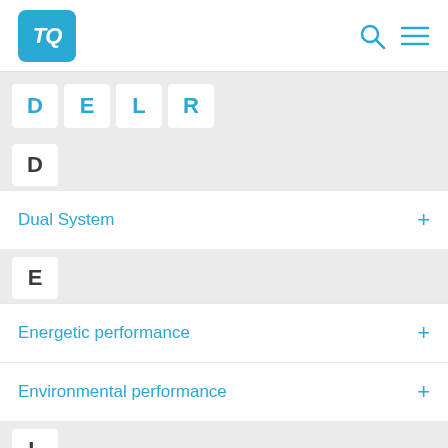TQ logo with search and menu icons
D  E  L  R
D
Dual System
E
Energetic performance
Environmental performance
L
Life Cycle Benefits